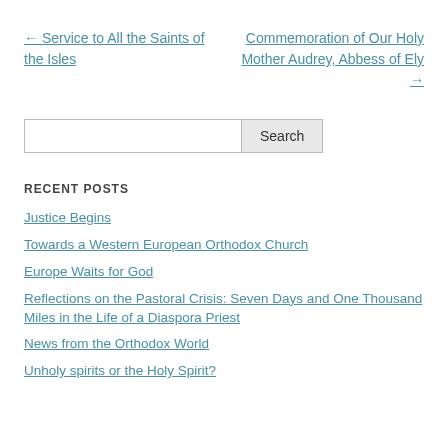← Service to All the Saints of the Isles
Commemoration of Our Holy Mother Audrey, Abbess of Ely →
Search
RECENT POSTS
Justice Begins
Towards a Western European Orthodox Church
Europe Waits for God
Reflections on the Pastoral Crisis: Seven Days and One Thousand Miles in the Life of a Diaspora Priest
News from the Orthodox World
Unholy spirits or the Holy Spirit?